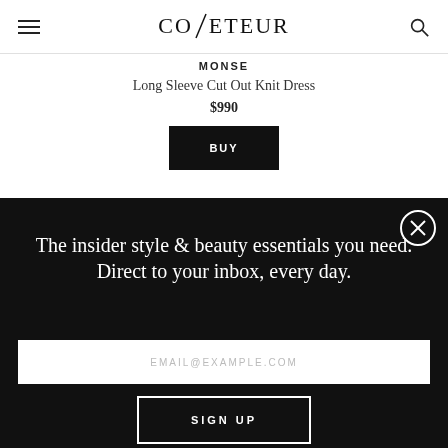COVETEUR
MONSE
Long Sleeve Cut Out Knit Dress
$990
BUY
The insider style & beauty essentials you need. Direct to your inbox, every day.
EMAIL@EXAMPLE.COM
SIGN UP